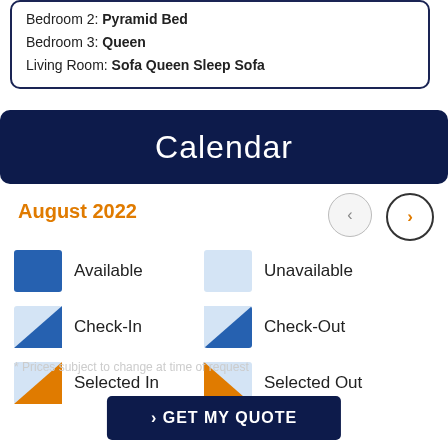Bedroom 2: Pyramid Bed
Bedroom 3: Queen
Living Room: Sofa Queen Sleep Sofa
Calendar
August 2022
[Figure (infographic): Calendar legend showing: Available (solid blue square), Unavailable (light blue square), Check-In (split square white/blue triangle bottom-right), Check-Out (split square blue/white triangle bottom-left), Selected In (split square white/orange triangle bottom-right), Selected Out (split square light/orange triangle bottom-left)]
› GET MY QUOTE